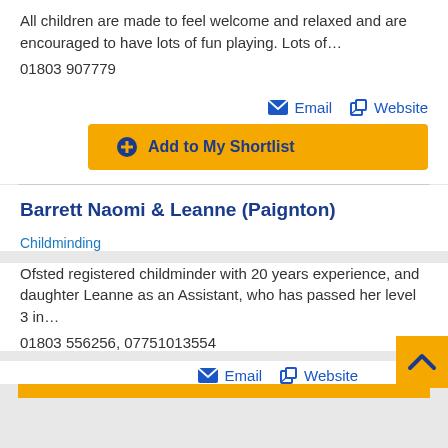All children are made to feel welcome and relaxed and are encouraged to have lots of fun playing. Lots of…
01803 907779
Email   Website
Add to My Shortlist
Barrett Naomi & Leanne (Paignton)
Childminding
Ofsted registered childminder with 20 years experience, and daughter Leanne as an Assistant, who has passed her level 3 in…
01803 556256, 07751013554
Email   Website